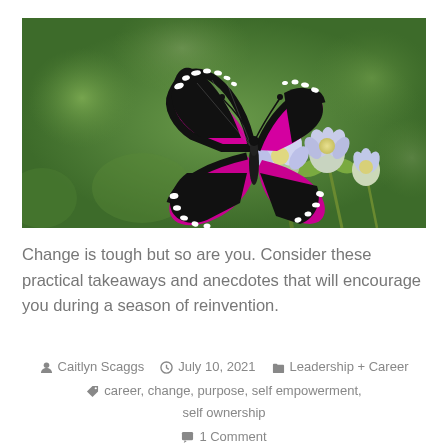[Figure (photo): A vibrant pink and black butterfly perched on a small purple flower bud against a blurred green background.]
Change is tough but so are you. Consider these practical takeaways and anecdotes that will encourage you during a season of reinvention.
Caitlyn Scaggs  July 10, 2021  Leadership + Career  career, change, purpose, self empowerment, self ownership  1 Comment